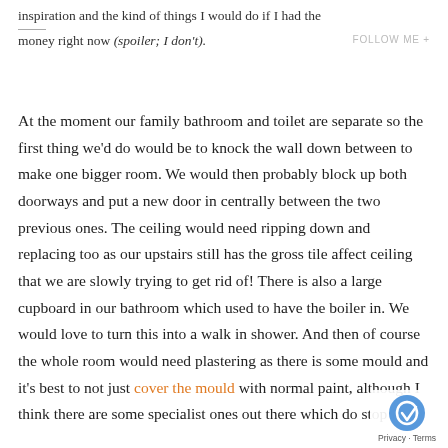inspiration and the kind of things I would do if I had the money right now (spoiler; I don't).
At the moment our family bathroom and toilet are separate so the first thing we'd do would be to knock the wall down between to make one bigger room. We would then probably block up both doorways and put a new door in centrally between the two previous ones. The ceiling would need ripping down and replacing too as our upstairs still has the gross tile affect ceiling that we are slowly trying to get rid of! There is also a large cupboard in our bathroom which used to have the boiler in. We would love to turn this into a walk in shower. And then of course the whole room would need plastering as there is some mould and it's best to not just cover the mould with normal paint, although I think there are some specialist ones out there which do stop it